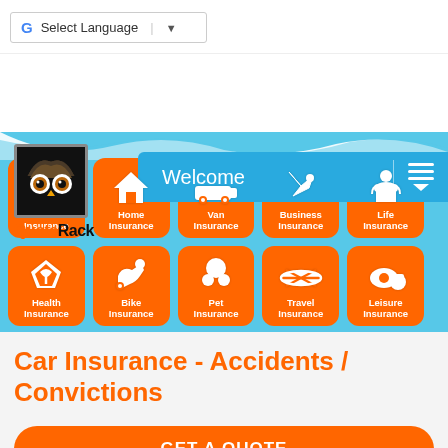[Figure (screenshot): Google Translate language selector bar with G logo and dropdown arrow]
[Figure (screenshot): QuoteRack website header with logo, Welcome nav bar, and insurance category buttons grid including Car, Home, Van, Business, Life, Health, Bike, Pet, Travel, Leisure insurance]
Car Insurance - Accidents / Convictions
[Figure (screenshot): GET A QUOTE orange button]